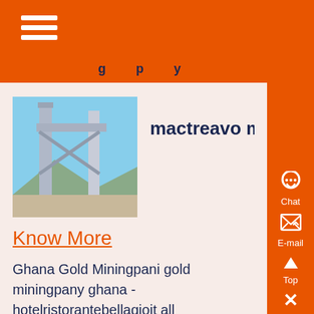mactreavo miningpany (partial header visible)
[Figure (photo): Photograph of industrial mining or construction equipment, metal structures against a blue sky]
mactreavo miningpa
Know More
Ghana Gold Miningpani gold miningpany ghana - hotelristorantebellagioit all miningpanies in ghana which is the largest gold miningpany in south africa Manav Creations which is the largest gold miningpany in south africanews coal mining south kalimantan which is the largest g